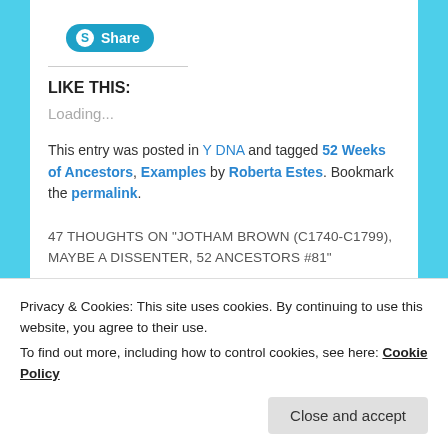[Figure (other): Skype Share button — teal rounded button with white S icon and 'Share' label]
LIKE THIS:
Loading...
This entry was posted in Y DNA and tagged 52 Weeks of Ancestors, Examples by Roberta Estes. Bookmark the permalink.
47 THOUGHTS ON "JOTHAM BROWN (C1740-C1799), MAYBE A DISSENTER, 52 ANCESTORS #81"
Privacy & Cookies: This site uses cookies. By continuing to use this website, you agree to their use.
To find out more, including how to control cookies, see here: Cookie Policy